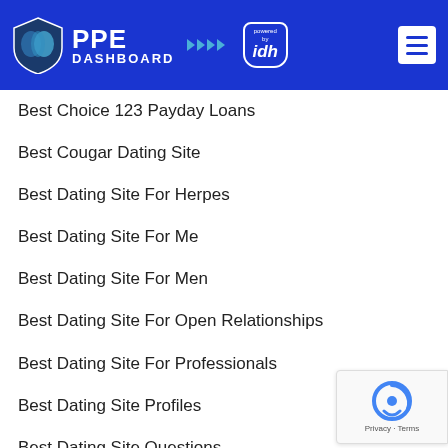PPE DASHBOARD powered by idh
Best Choice 123 Payday Loans
Best Cougar Dating Site
Best Dating Site For Herpes
Best Dating Site For Me
Best Dating Site For Men
Best Dating Site For Open Relationships
Best Dating Site For Professionals
Best Dating Site Profiles
Best Dating Site Questions